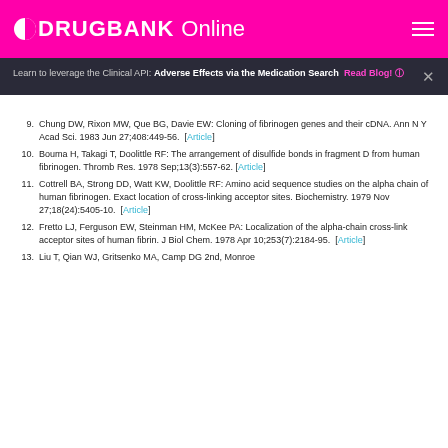DRUGBANK Online
Learn to leverage the Clinical API: Adverse Effects via the Medication Search  Read Blog!
9. Chung DW, Rixon MW, Que BG, Davie EW: Cloning of fibrinogen genes and their cDNA. Ann N Y Acad Sci. 1983 Jun 27;408:449-56. [Article]
10. Bouma H, Takagi T, Doolittle RF: The arrangement of disulfide bonds in fragment D from human fibrinogen. Thromb Res. 1978 Sep;13(3):557-62. [Article]
11. Cottrell BA, Strong DD, Watt KW, Doolittle RF: Amino acid sequence studies on the alpha chain of human fibrinogen. Exact location of cross-linking acceptor sites. Biochemistry. 1979 Nov 27;18(24):5405-10. [Article]
12. Fretto LJ, Ferguson EW, Steinman HM, McKee PA: Localization of the alpha-chain cross-link acceptor sites of human fibrin. J Biol Chem. 1978 Apr 10;253(7):2184-95. [Article]
13. Liu T, Qian WJ, Gritsenko MA, Camp DG 2nd, Monroe...